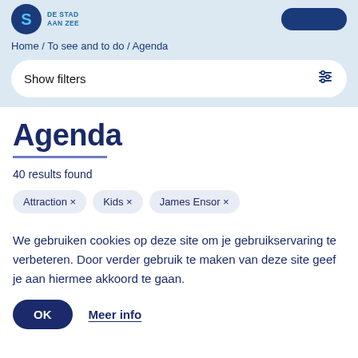DE STAD AAN ZEE
Home / To see and to do / Agenda
Show filters
Agenda
40 results found
Attraction ×
Kids ×
James Ensor ×
We gebruiken cookies op deze site om je gebruikservaring te verbeteren. Door verder gebruik te maken van deze site geef je aan hiermee akkoord te gaan.
OK
Meer info